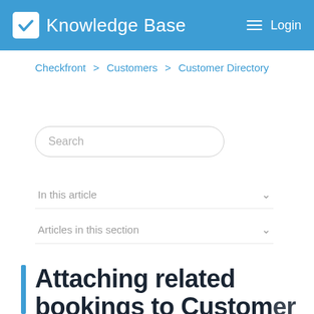Knowledge Base  Login
Checkfront > Customers > Customer Directory
Search
In this article
Articles in this section
Attaching related bookings to Customer